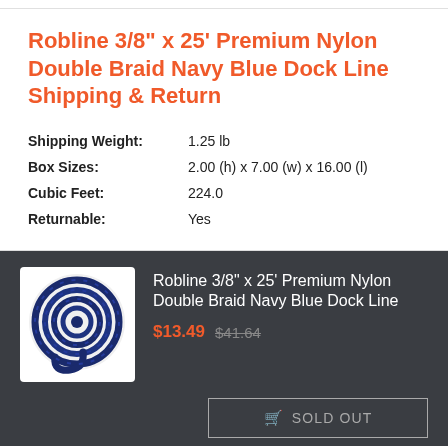Robline 3/8" x 25' Premium Nylon Double Braid Navy Blue Dock Line Shipping & Return
| Shipping Weight: | 1.25 lb |
| Box Sizes: | 2.00 (h) x 7.00 (w) x 16.00 (l) |
| Cubic Feet: | 224.0 |
| Returnable: | Yes |
Robline 3/8" x 25' Premium Nylon Double Braid Navy Blue Dock Line
$13.49 $41.64
SOLD OUT